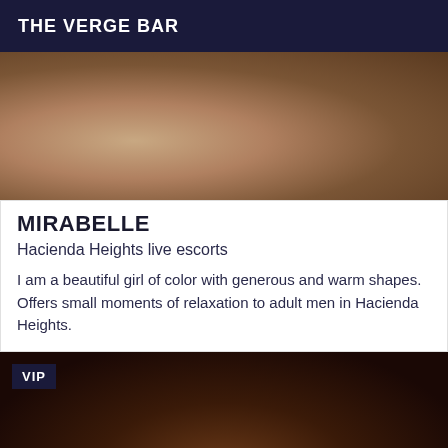THE VERGE BAR
[Figure (photo): Close-up photo showing a person's lower back/hips area wearing a bikini bottom with straps]
MIRABELLE
Hacienda Heights live escorts
I am a beautiful girl of color with generous and warm shapes. Offers small moments of relaxation to adult men in Hacienda Heights.
[Figure (photo): Photo of a person with curly dark hair, VIP badge overlaid in top-left corner]